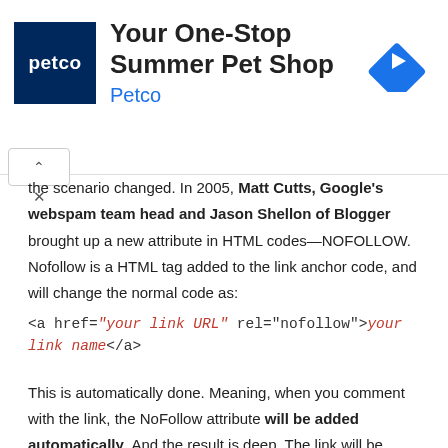[Figure (other): Petco advertisement banner: logo (dark blue square with 'petco' text), headline 'Your One-Stop Summer Pet Shop', subtext 'Petco', and a blue diamond navigation icon on the right.]
the scenario changed. In 2005, Matt Cutts, Google's webspam team head and Jason Shellon of Blogger brought up a new attribute in HTML codes—NOFOLLOW. Nofollow is a HTML tag added to the link anchor code, and will change the normal code as:
This is automatically done. Meaning, when you comment with the link, the NoFollow attribute will be added automatically. And the result is deep. The link will be valueless and the search crawlers would not follow them to index. So, such a link is as useless as a piece of text. Blogger blogs soon adopted this and being Google's